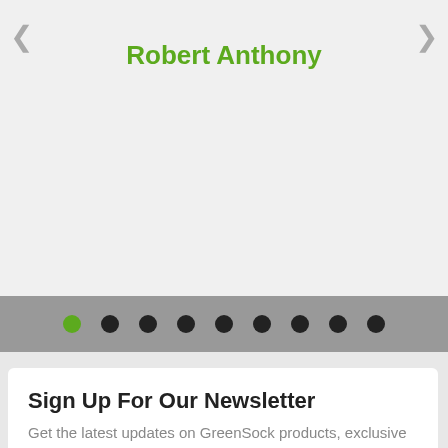Robert Anthony
[Figure (other): Carousel navigation dots: one green active dot followed by eight black dots, on a gray background bar]
Sign Up For Our Newsletter
Get the latest updates on GreenSock products, exclusive offers, and more right in your inbox.
Your Email Address  SIGN UP
Your information will always be kept confidential.